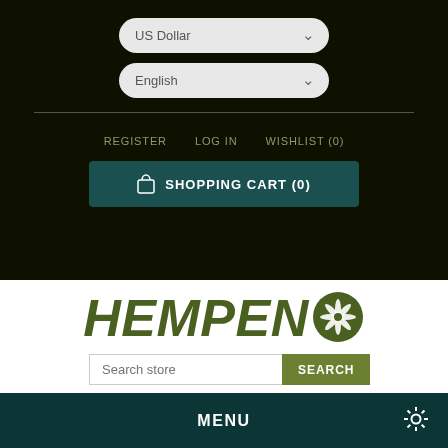US Dollar
English
REGISTER   LOG IN   WISHLIST (0)
SHOPPING CART (0)
[Figure (logo): HEMPENO logo in dark olive/green italic bold font with a palm leaf icon replacing the O]
Search store
SEARCH
MENU